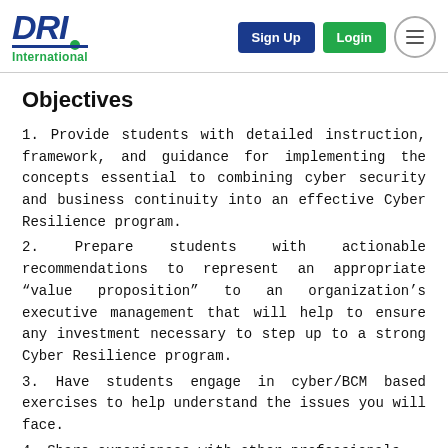DRI International — Sign Up | Login
Objectives
1. Provide students with detailed instruction, framework, and guidance for implementing the concepts essential to combining cyber security and business continuity into an effective Cyber Resilience program.
2. Prepare students with actionable recommendations to represent an appropriate “value proposition” to an organization’s executive management that will help to ensure any investment necessary to step up to a strong Cyber Resilience program.
3. Have students engage in cyber/BCM based exercises to help understand the issues you will face.
4. Share experiences with other professionals.